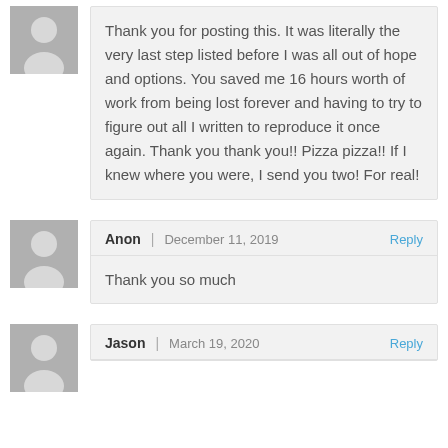Thank you for posting this. It was literally the very last step listed before I was all out of hope and options. You saved me 16 hours worth of work from being lost forever and having to try to figure out all I written to reproduce it once again. Thank you thank you!! Pizza pizza!! If I knew where you were, I send you two! For real!
Anon | December 11, 2019 Reply
Thank you so much
Jason | March 19, 2020 Reply